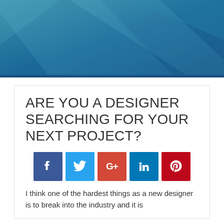[Figure (illustration): Abstract geometric header banner with teal and blue gradient background, diagonal ribbon shapes in lighter blue tones overlapping]
ARE YOU A DESIGNER SEARCHING FOR YOUR NEXT PROJECT?
[Figure (infographic): Row of five social media icon buttons: Facebook (dark blue, f), Twitter (light blue, bird), Google+ (red, G+), LinkedIn (teal/blue, in), Pinterest (red, P circle)]
I think one of the hardest things as a new designer is to break into the industry and it is